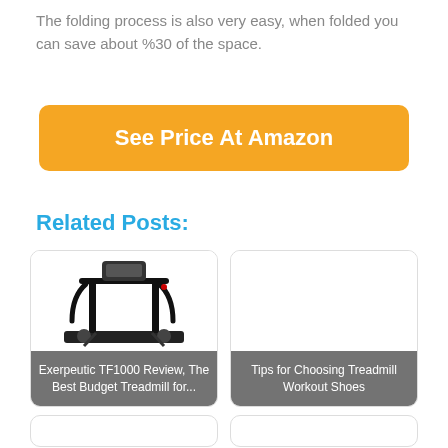The folding process is also very easy, when folded you can save about %30 of the space.
[Figure (other): Orange 'See Price At Amazon' button]
Related Posts:
[Figure (photo): Card showing a treadmill photo with label: Exerpeutic TF1000 Review, The Best Budget Treadmill for...]
[Figure (other): Card with gray label: Tips for Choosing Treadmill Workout Shoes]
[Figure (other): Two partial card boxes at the bottom of the page (content not visible)]